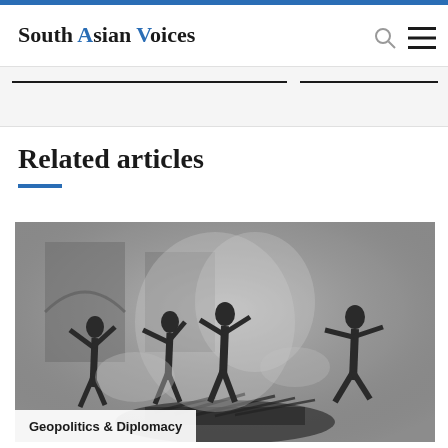South Asian Voices
Related articles
[Figure (photo): Black and white historical photograph showing several people in a smoky or dusty outdoor scene, appearing to be engaged in manual labor or a ceremonial activity near what looks like a funeral pyre or wood pile, with arched architecture visible in the background.]
Geopolitics & Diplomacy